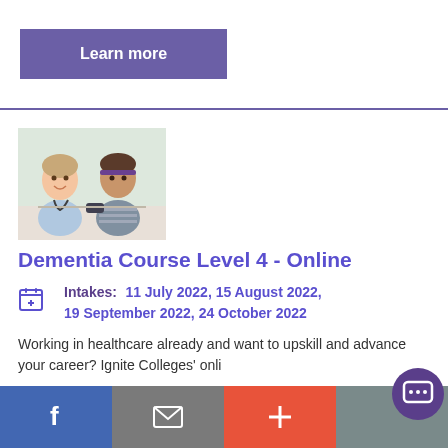Learn more
[Figure (photo): Two women at a table, one appears to be a healthcare professional taking blood pressure of the other]
Dementia Course Level 4 - Online
Intakes: 11 July 2022, 15 August 2022, 19 September 2022, 24 October 2022
Working in healthcare already and want to upskill and advance your career? Ignite Colleges' onli